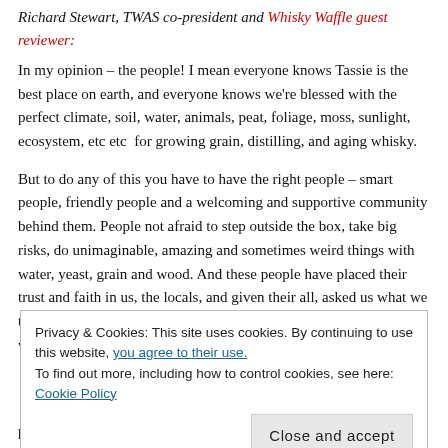Richard Stewart, TWAS co-president and Whisky Waffle guest reviewer:
In my opinion – the people! I mean everyone knows Tassie is the best place on earth, and everyone knows we're blessed with the perfect climate, soil, water, animals, peat, foliage, moss, sunlight, ecosystem, etc etc  for growing grain, distilling, and aging whisky.
But to do any of this you have to have the right people – smart people, friendly people and a welcoming and supportive community behind them. People not afraid to step outside the box, take big risks, do unimaginable, amazing and sometimes weird things with water, yeast, grain and wood. And these people have placed their trust and faith in us, the locals, and given their all, asked us what we think – what they can do to improve and change what works and what
Privacy & Cookies: This site uses cookies. By continuing to use this website, you agree to their use.
To find out more, including how to control cookies, see here: Cookie Policy
Close and accept
proud of the distillers, distilleries and the whisky produced, but the